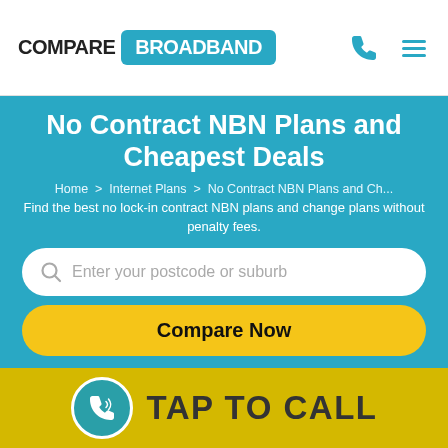COMPARE BROADBAND
No Contract NBN Plans and Cheapest Deals
Home > Internet Plans > No Contract NBN Plans and Ch...
Find the best no lock-in contract NBN plans and change plans without penalty fees.
Enter your postcode or suburb
Compare Now
TAP TO CALL